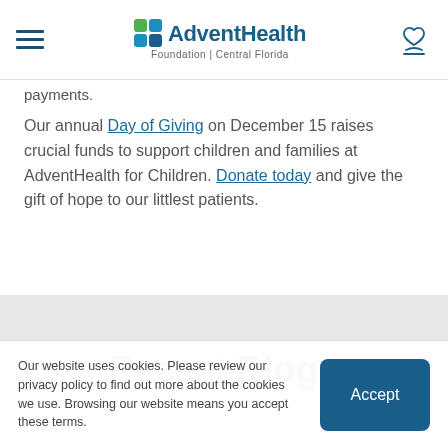AdventHealth Foundation | Central Florida
payments.
Our annual Day of Giving on December 15 raises crucial funds to support children and families at AdventHealth for Children. Donate today and give the gift of hope to our littlest patients.
Recent Blogs
Our website uses cookies. Please review our privacy policy to find out more about the cookies we use. Browsing our website means you accept these terms.